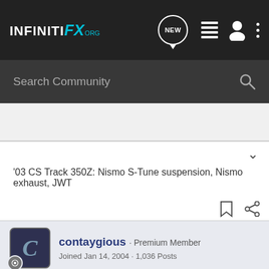INFINITI FX .org
Search Community
'03 CS Track 350Z: Nismo S-Tune suspension, Nismo exhaust, JWT
contaygious · Premium Member
Joined Jan 14, 2004 · 1,036 Posts
#10 · Mar 10, 2005
congrats! I got used too and I couldn't be happier!